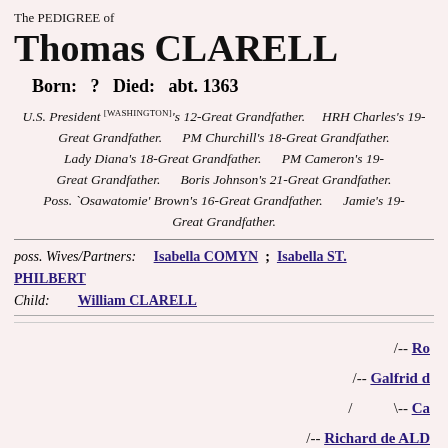The PEDIGREE of Thomas CLARELL
Born:  ?   Died:  abt. 1363
U.S. President [WASHINGTON]'s 12-Great Grandfather. HRH Charles's 19-Great Grandfather. PM Churchill's 18-Great Grandfather. Lady Diana's 18-Great Grandfather. PM Cameron's 19-Great Grandfather. Boris Johnson's 21-Great Grandfather. Poss. `Osawatomie' Brown's 16-Great Grandfather. Jamie's 19-Great Grandfather.
poss. Wives/Partners: Isabella COMYN ; Isabella ST. PHILBERT
Child: William CLARELL
[Figure (organizational-chart): Partial pedigree tree showing ancestors: /-- Ro..., /-- Galfrid d..., / \-- Ca..., /-- Richard de ALD..., / ...b... ALDWARK...]